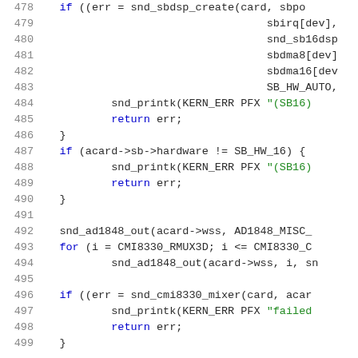[Figure (screenshot): Source code listing lines 478-499 in C, showing SoundBlaster and CMI8330 audio driver initialization code with syntax highlighting. Line numbers in gray on the left, keywords in blue, string literals in green.]